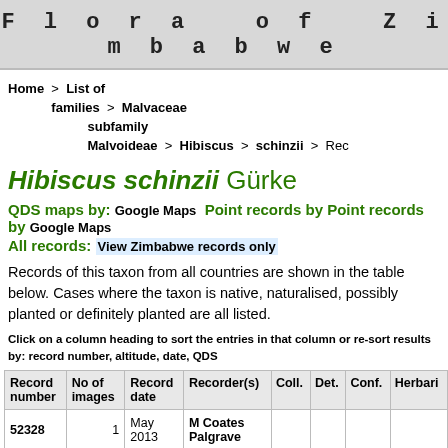Flora of Zimbabwe
Home > List of families > Malvaceae subfamily Malvoideae > Hibiscus > schinzii > Rec
Hibiscus schinzii Gürke
QDS maps by: Google Maps Point records by Google Maps
All records: View Zimbabwe records only
Records of this taxon from all countries are shown in the table below. Cases where the taxon is native, naturalised, possibly planted or definitely planted are all listed.
Click on a column heading to sort the entries in that column or re-sort results by: record number, altitude, date, QDS
| Record number | No of images | Record date | Recorder(s) | Coll. | Det. | Conf. | Herbari |
| --- | --- | --- | --- | --- | --- | --- | --- |
| 52328 | 1 | May 2013 | M Coates Palgrave |  |  |  |  |
| 113590 | 0 | 2001 |  |  |  |  |  |